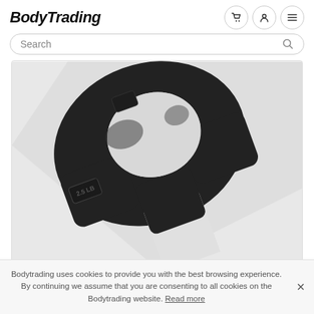BodyTrading
[Figure (photo): Black rubber/plastic weight plate clip or barbell collar with a U-shaped opening, viewed from above at an angle. The item is dark matte black with embossed markings. It is a horseshoe-shaped weight collar/clip used for securing weight plates on barbells.]
Bodytrading uses cookies to provide you with the best browsing experience. By continuing we assume that you are consenting to all cookies on the Bodytrading website. Read more